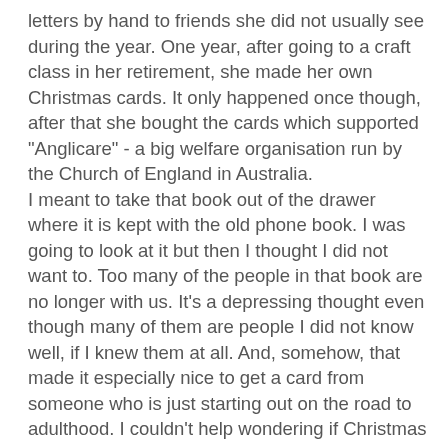letters by hand to friends she did not usually see during the year. One year, after going to a craft class in her retirement, she made her own Christmas cards. It only happened once though, after that she bought the cards which supported "Anglicare" - a big welfare organisation run by the Church of England in Australia.
I meant to take that book out of the drawer where it is kept with the old phone book. I was going to look at it but then I thought I did not want to. Too many of the people in that book are no longer with us. It's a depressing thought even though many of them are people I did not know well, if I knew them at all. And, somehow, that made it especially nice to get a card from someone who is just starting out on the road to adulthood. I couldn't help wondering if Christmas cards will still be around when she is my age. I rather hope they are and that she gets one from someone much younger than herself.